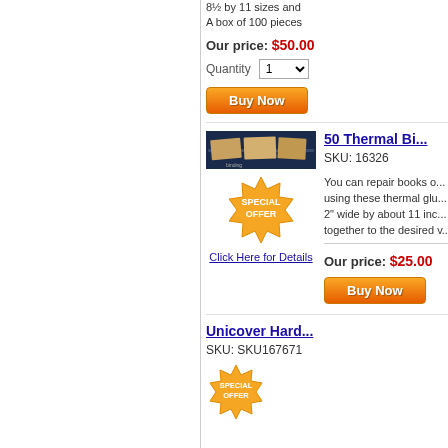8.5 by 11 sizes and A box of 100 pieces
Our price: $50.00
Quantity 1
[Figure (other): Buy Now button with orange gradient background]
[Figure (photo): Product photo of thermal binding supplies]
50 Thermal Bi...
SKU: 16326
[Figure (other): Special Offer badge in orange starburst shape]
Click Here for Details
You can repair books o... using these thermal glu... 2" wide by about 11 inc... together to the desired v...
Our price: $25.00
[Figure (other): Buy Now button with orange gradient background]
Unicover Hard...
SKU: SKU167671
[Figure (other): Special Offer badge in orange starburst shape (partial)]